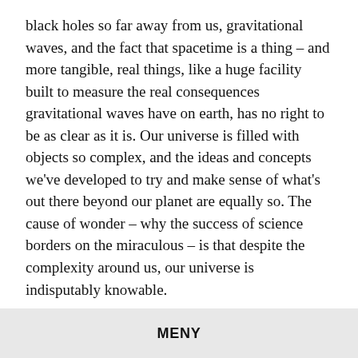black holes so far away from us, gravitational waves, and the fact that spacetime is a thing – and more tangible, real things, like a huge facility built to measure the real consequences gravitational waves have on earth, has no right to be as clear as it is. Our universe is filled with objects so complex, and the ideas and concepts we've developed to try and make sense of what's out there beyond our planet are equally so. The cause of wonder – why the success of science borders on the miraculous – is that despite the complexity around us, our universe is indisputably knowable.
Del dette:
Facebook | Twitter | Pocket
MENY